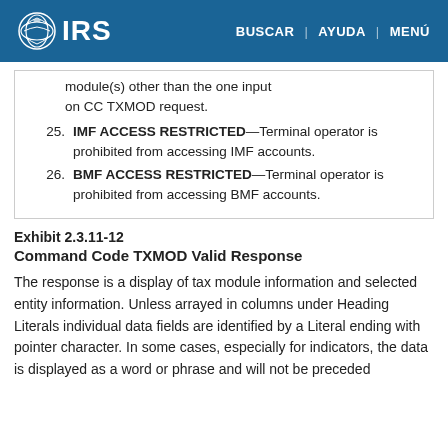IRS | BUSCAR | AYUDA | MENÚ
module(s) other than the one input on CC TXMOD request.
25. IMF ACCESS RESTRICTED—Terminal operator is prohibited from accessing IMF accounts.
26. BMF ACCESS RESTRICTED—Terminal operator is prohibited from accessing BMF accounts.
Exhibit 2.3.11-12
Command Code TXMOD Valid Response
The response is a display of tax module information and selected entity information. Unless arrayed in columns under Heading Literals individual data fields are identified by a Literal ending with pointer character. In some cases, especially for indicators, the data is displayed as a word or phrase and will not be preceded